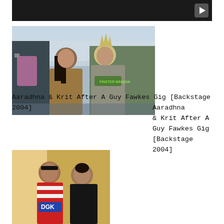[Figure (photo): Dark video thumbnail with play button icon in top right corner]
[Figure (photo): Photo of Aaradhna and Krit standing together backstage after a Guy Fawkes Gig in 2004. Aaradhna is wearing a tan/brown jacket and Krit is wearing a grey t-shirt with spiky blonde hair. They are standing in front of a tent backdrop.]
Aaradhna & Krit After A Guy Fawkes Gig [Backstage 2004]
[Figure (photo): Photo of two people standing together against a yellow/beige wall. One person is wearing a red, white and blue striped tank top with 'DGK' logo, and the other is wearing a black top.]